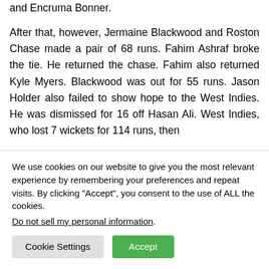and Encruma Bonner. After that, however, Jermaine Blackwood and Roston Chase made a pair of 68 runs. Fahim Ashraf broke the tie. He returned the chase. Fahim also returned Kyle Myers. Blackwood was out for 55 runs. Jason Holder also failed to show hope to the West Indies. He was dismissed for 16 off Hasan Ali. West Indies, who lost 7 wickets for 114 runs, then
We use cookies on our website to give you the most relevant experience by remembering your preferences and repeat visits. By clicking "Accept", you consent to the use of ALL the cookies. Do not sell my personal information.